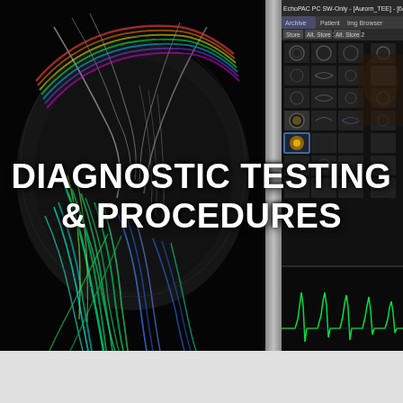[Figure (photo): Two medical imaging screens side by side. Left screen shows a colorful MRI brain/neural fiber tractography image with green, blue, teal and rainbow colors on a black background. Right screen shows an echocardiography workstation (EchoPAC PC SW-Only, Aurora_TEE) with a dark interface showing cardiac image thumbnails and a green waveform at the bottom.]
DIAGNOSTIC TESTING & PROCEDURES